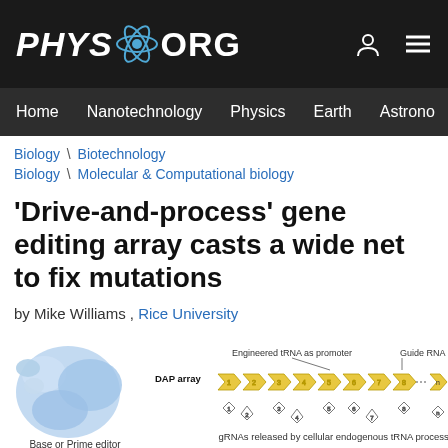PHYS.ORG
Home | Nanotechnology | Physics | Earth | Astronomy
Biology \ Biotechnology
Biology \ Molecular & Computational biology
'Drive-and-process' gene editing array casts a wide net to fix mutations
by Mike Williams , Rice University
[Figure (illustration): Diagram showing a DAP (Drive-and-Process) array with engineered tRNA as promoter and Guide RNA (gRNA). A Base or Prime editor is shown on the left as a blue molecule. The array shows numbered diamond/arrow shapes (1 through n) connected in sequence. Below, individual gRNAs are shown being released by cellular endogenous tRNA processing. Numbers 1-8 and n are labeled below the array elements.]